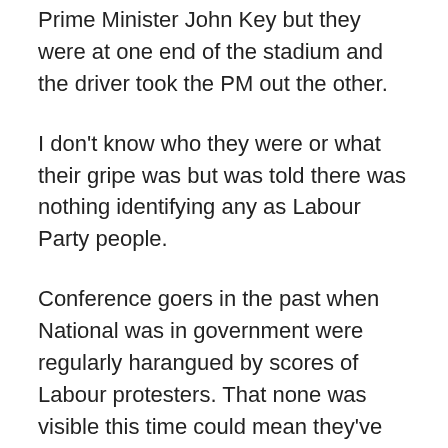Prime Minister John Key but they were at one end of the stadium and the driver took the PM out the other.
I don't know who they were or what their gripe was but was told there was nothing identifying any as Labour Party people.
Conference goers in the past when National was in government were regularly harangued by scores of Labour protesters. That none was visible this time could mean they've realised the futility of such actions.
It might also be another sign of the party's ailing state and that it doesn't have enough activists willing to get out and wave their flags any more.